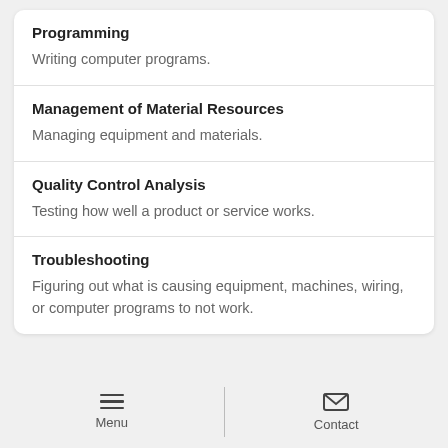Programming
Writing computer programs.
Management of Material Resources
Managing equipment and materials.
Quality Control Analysis
Testing how well a product or service works.
Troubleshooting
Figuring out what is causing equipment, machines, wiring, or computer programs to not work.
Menu  Contact